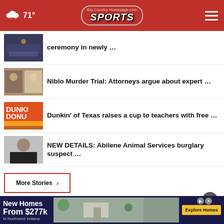71° Big Country Homepage.com SPORTS
ceremony in newly …
Niblo Murder Trial: Attorneys argue about expert …
Dunkin' of Texas raises a cup to teachers with free …
NEW DETAILS: Abilene Animal Services burglary suspect …
More Stories ›
[Figure (screenshot): Advertisement banner: New Homes From $277k in Northwest Indiana. Explore Homes button.]